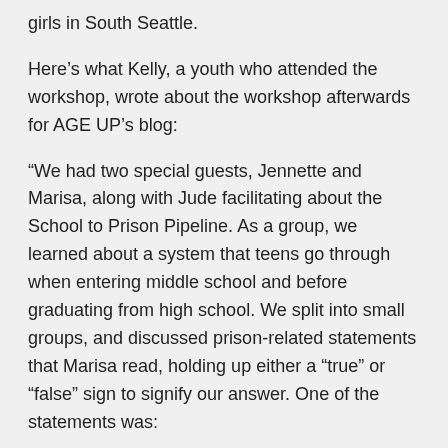girls in South Seattle.
Here's what Kelly, a youth who attended the workshop, wrote about the workshop afterwards for AGE UP's blog:
“We had two special guests, Jennette and Marisa, along with Jude facilitating about the School to Prison Pipeline. As a group, we learned about a system that teens go through when entering middle school and before graduating from high school. We split into small groups, and discussed prison-related statements that Marisa read, holding up either a “true” or “false” sign to signify our answer. One of the statements was:
“The rise in incarceration is due to an increase in crime.” Answer: False. U.S. incarceration rates have steadily risen for four decades.